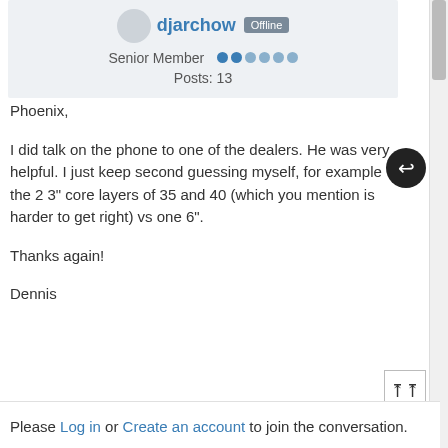djarchow | Offline | Senior Member | Posts: 13
Phoenix,

I did talk on the phone to one of the dealers. He was very helpful. I just keep second guessing myself, for example the 2 3" core layers of 35 and 40 (which you mention is harder to get right) vs one 6".

Thanks again!

Dennis
Please Log in or Create an account to join the conversation.